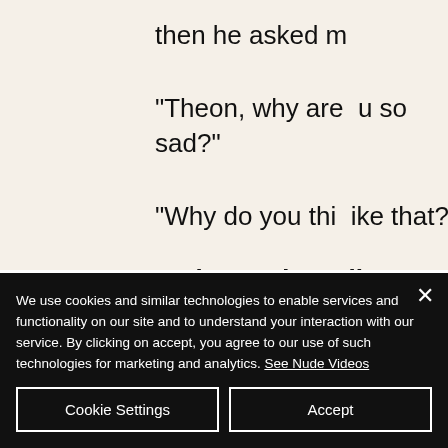then he asked m
"Theon, why are u so sad?"
"Why do you thi like that?"
He hugged me while we were walking.
"Because you di ot say a word for the last 30 m tes. Are you
We use cookies and similar technologies to enable services and functionality on our site and to understand your interaction with our service. By clicking on accept, you agree to our use of such technologies for marketing and analytics. See Nude Videos
Cookie Settings
Accept